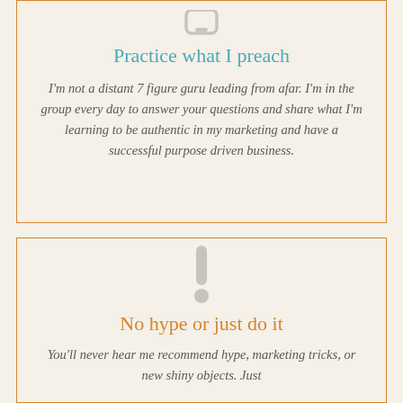[Figure (illustration): Gray rounded rectangle icon resembling a phone or tablet device, partial view at top]
Practice what I preach
I'm not a distant 7 figure guru leading from afar. I'm in the group every day to answer your questions and share what I'm learning to be authentic in my marketing and have a successful purpose driven business.
[Figure (illustration): Gray exclamation mark icon]
No hype or just do it
You'll never hear me recommend hype, marketing tricks, or new shiny objects. Just